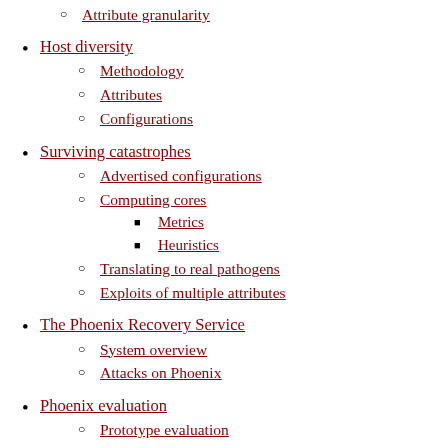Attribute granularity
Host diversity
Methodology
Attributes
Configurations
Surviving catastrophes
Advertised configurations
Computing cores
Metrics
Heuristics
Translating to real pathogens
Exploits of multiple attributes
The Phoenix Recovery Service
System overview
Attacks on Phoenix
Phoenix evaluation
Prototype evaluation
Simulation study